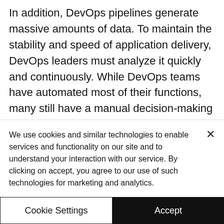In addition, DevOps pipelines generate massive amounts of data. To maintain the stability and speed of application delivery, DevOps leaders must analyze it quickly and continuously. While DevOps teams have automated most of their functions, many still have a manual decision-making process, which creates bottlenecks and leads to ill-informed actions. AIOps, with its ability to analyze data and recommend actions, is the key to combining automated decisions...
We use cookies and similar technologies to enable services and functionality on our site and to understand your interaction with our service. By clicking on accept, you agree to our use of such technologies for marketing and analytics.